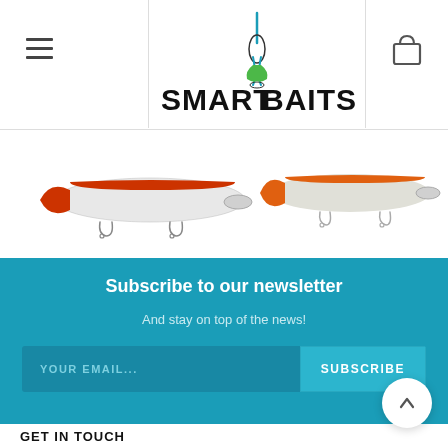[Figure (logo): SmartBaits logo with fishing lure icon above letter I in SMARTBAITS text]
[Figure (photo): Two fishing lures/crankbaits shown partially — one red/white on the left and one orange on the right against white background]
Subscribe to our newsletter
And stay on top of the news!
YOUR EMAIL... SUBSCRIBE
GET IN TOUCH